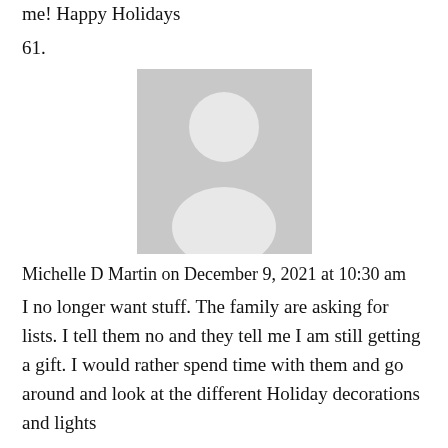me! Happy Holidays
61.
[Figure (illustration): Generic grey avatar placeholder image showing a silhouette of a person (head and shoulders) on a grey background]
Michelle D Martin on December 9, 2021 at 10:30 am
I no longer want stuff. The family are asking for lists. I tell them no and they tell me I am still getting a gift. I would rather spend time with them and go around and look at the different Holiday decorations and lights
62.
[Figure (illustration): Generic grey avatar placeholder image showing a silhouette of a person (head and shoulders) on a grey background]
Diane Henry on December 9, 2021 at 10:32 am
To cherish what blessings I have. To be